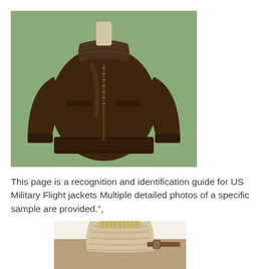[Figure (photo): A brown leather US military flight jacket (bomber/G-1 style) displayed on a mannequin torso against a sage green background. The jacket has a fur/shearling collar, front zipper, two chest flap pockets, and ribbed cuffs and hem.]
This page is a recognition and identification guide for US Military Flight jackets Multiple detailed photos of a specific sample are provided.".
[Figure (photo): Close-up detail photo of a flight jacket collar area showing tan/khaki shearling lining, corduroy or ribbed knit collar trim, and leather strap/buckle hardware.]